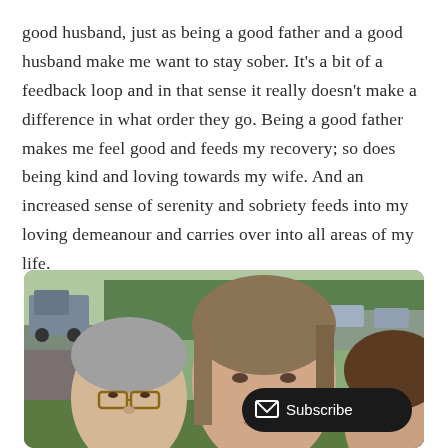good husband, just as being a good father and a good husband make me want to stay sober. It's a bit of a feedback loop and in that sense it really doesn't make a difference in what order they go. Being a good father makes me feel good and feeds my recovery; so does being kind and loving towards my wife. And an increased sense of serenity and sobriety feeds into my loving demeanour and carries over into all areas of my life.
[Figure (photo): Family selfie photo showing three people (a man with glasses and grey hair on the left, a woman with long brown/grey hair in the center, and a younger person partially visible on the right) outdoors near a road with a truck, trees, and cars in the background. A black 'Subscribe' button with an envelope icon is overlaid in the bottom right.]